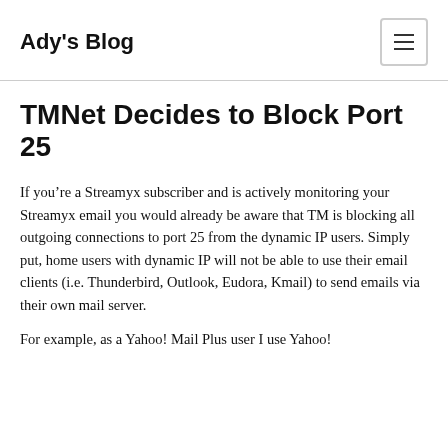Ady's Blog
TMNet Decides to Block Port 25
If you're a Streamyx subscriber and is actively monitoring your Streamyx email you would already be aware that TM is blocking all outgoing connections to port 25 from the dynamic IP users. Simply put, home users with dynamic IP will not be able to use their email clients (i.e. Thunderbird, Outlook, Eudora, Kmail) to send emails via their own mail server.
For example, as a Yahoo! Mail Plus user I use Yahoo!